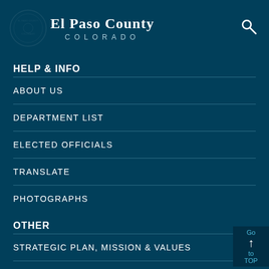El Paso County COLORADO
HELP & INFO
ABOUT US
DEPARTMENT LIST
ELECTED OFFICIALS
TRANSLATE
PHOTOGRAPHS
OTHER
STRATEGIC PLAN, MISSION & VALUES